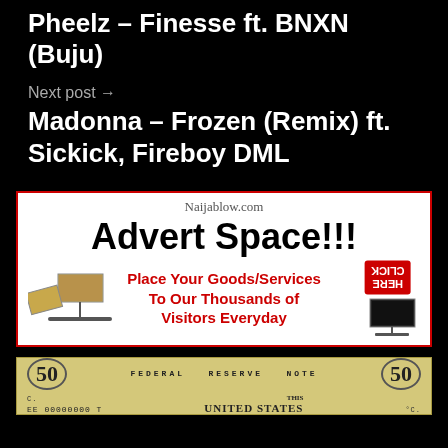Pheelz – Finesse ft. BNXN (Buju)
Next post →
Madonna – Frozen (Remix) ft. Sickick, Fireboy DML
[Figure (infographic): Naijablow.com advert space banner with billboard illustrations and 'Click Here' button. Text: Place Your Goods/Services To Our Thousands of Visitors Everyday]
[Figure (photo): Partial image of a US $50 Federal Reserve Note showing serial number EE 00000000 T and text UNITED STATES]